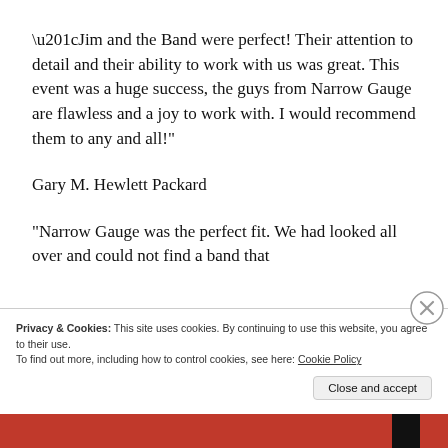“Jim and the Band were perfect! Their attention to detail and their ability to work with us was great. This event was a huge success, the guys from Narrow Gauge are flawless and a joy to work with. I would recommend them to any and all!”
Gary M. Hewlett Packard
“Narrow Gauge was the perfect fit. We had looked all over and could not find a band that
Privacy & Cookies: This site uses cookies. By continuing to use this website, you agree to their use.
To find out more, including how to control cookies, see here: Cookie Policy
Close and accept